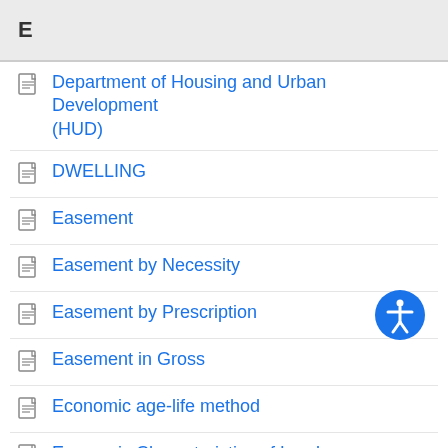E
Department of Housing and Urban Development (HUD)
DWELLING
Easement
Easement by Necessity
Easement by Prescription
Easement in Gross
Economic age-life method
Economic Characteristics of Land
Economic Obsolescence
Economic Rent
Effective A…